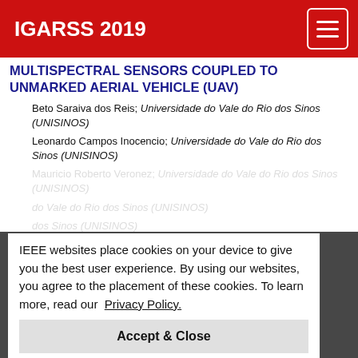IGARSS 2019
MULTISPECTRAL SENSORS COUPLED TO UNMARKED AERIAL VEHICLE (UAV)
Beto Saraiva dos Reis; Universidade do Vale do Rio dos Sinos (UNISINOS)
Leonardo Campos Inocencio; Universidade do Vale do Rio dos Sinos (UNISINOS)
Mauricio Roberto Veronez; Universidade do Vale do Rio dos Sinos (UNISINOS)
Universidade do Vale do Rio dos Sinos (UNISINOS)
Universidade do Vale do Rio dos Sinos (UNISINOS)
Rafael Kenji Horota, Universidade do Vale do Rio dos Sinos (UNISINOS)
Ademir Marques Jr.; Universidade do Vale do Rio dos Sinos (UNISINOS)
IEEE websites place cookies on your device to give you the best user experience. By using our websites, you agree to the placement of these cookies. To learn more, read our Privacy Policy.